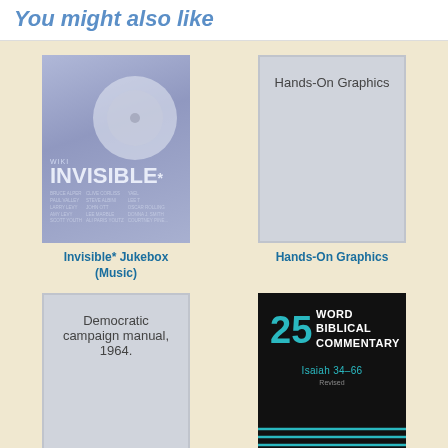You might also like
[Figure (illustration): Book cover for Invisible* Jukebox (Music) - blue/purple toned CD case]
Invisible* Jukebox (Music)
[Figure (illustration): Placeholder book cover for Hands-On Graphics with gray background]
Hands-On Graphics
[Figure (illustration): Placeholder book cover for Democratic campaign manual, 1964]
[Figure (illustration): Book cover for Word Biblical Commentary 25: Isaiah 34-66, black cover with teal accents]